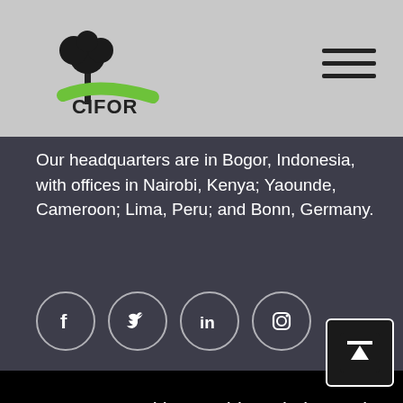[Figure (logo): CIFOR logo with tree illustration and green swoosh]
[Figure (other): Hamburger menu icon (three horizontal lines)]
Our headquarters are in Bogor, Indonesia, with offices in Nairobi, Kenya; Yaounde, Cameroon; Lima, Peru; and Bonn, Germany.
[Figure (other): Social media icons: Facebook, Twitter, LinkedIn, Instagram]
We use cookies on this website to give you a better user experience. By continuing to browse the site, you are agreeing to our use of cookies.  Learn more
[Figure (other): Accept button (yellow background, black bold text)]
[Figure (other): Scroll to top button - square dark button with up arrow]
622